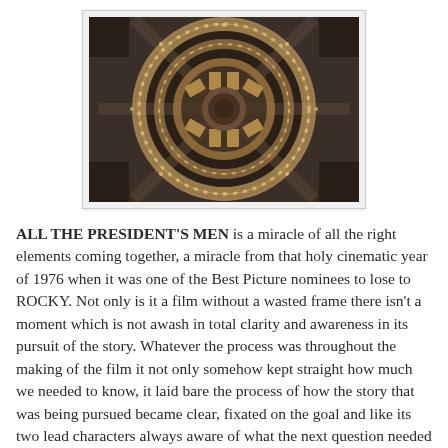[Figure (photo): Aerial overhead view of a circular/rotunda building interior, showing concentric rings of seating arranged around a central point, viewed from directly above. The image has warm amber/brown tones with people visible in the circular arrangement.]
ALL THE PRESIDENT'S MEN is a miracle of all the right elements coming together, a miracle from that holy cinematic year of 1976 when it was one of the Best Picture nominees to lose to ROCKY. Not only is it a film without a wasted frame there isn't a moment which is not awash in total clarity and awareness in its pursuit of the story. Whatever the process was throughout the making of the film it not only somehow kept straight how much we needed to know, it laid bare the process of how the story that was being pursued became clear, fixated on the goal and like its two lead characters always aware of what the next question needed to be. Every moment is important, even the asides, even the blind alleys